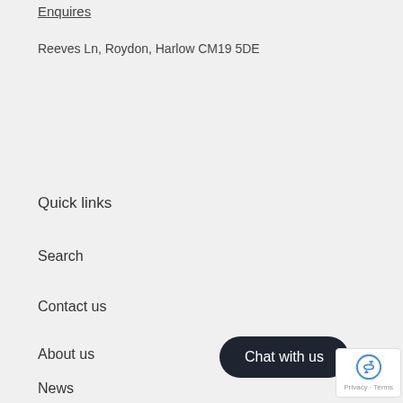Enquires
Reeves Ln, Roydon, Harlow CM19 5DE
Quick links
Search
Contact us
About us
News